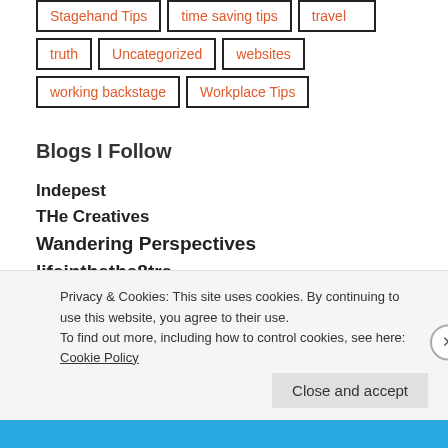Stagehand Tips
time saving tips
travel
truth
Uncategorized
websites
working backstage
Workplace Tips
Blogs I Follow
Indepest
THe Creatives
Wandering Perspectives
lifeinthethe8tre
AUKIVI · NORTH EAST UK
Privacy & Cookies: This site uses cookies. By continuing to use this website, you agree to their use.
To find out more, including how to control cookies, see here: Cookie Policy
Close and accept